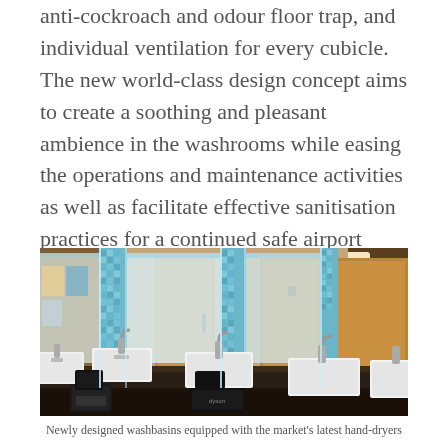anti-cockroach and odour floor trap, and individual ventilation for every cubicle. The new world-class design concept aims to create a soothing and pleasant ambience in the washrooms while easing the operations and maintenance activities as well as facilitate effective sanitisation practices for a continued safe airport experience.
[Figure (photo): Interior of a modern airport washroom showing a row of newly designed white square washbasins with chrome faucets on a dark counter, blue mosaic tile accent columns between large mirrors, wooden cubicle doors in the background, and hand dryers mounted below the counter.]
Newly designed washbasins equipped with the market's latest hand-dryers